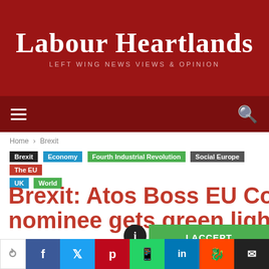Labour Heartlands — LEFT WING NEWS VIEWS & OPINION
Home › Brexit
Brexit | Economy | Fourth Industrial Revolution | Social Europe | The EU | UK | World
Brexit: Atos Boss EU Commission nominee gets green light on financ…
By Paul Knaggs · November 12, 2019 · 1737 views
Cookie Policy
I ACCEPT | MY PREFERENCES